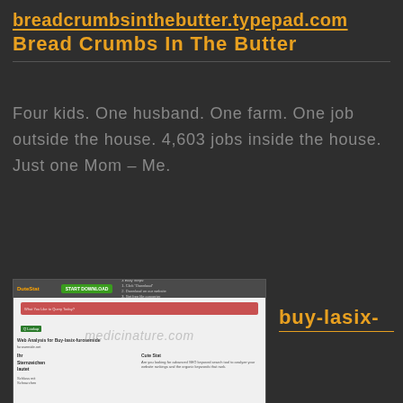breadcrumbsinthebutter.typepad.com
Bread Crumbs In The Butter
Four kids. One husband. One farm. One job outside the house. 4,603 jobs inside the house. Just one Mom – Me.
[Figure (screenshot): Screenshot of a website analysis page showing DoteStat interface with a green 'Start Download' button, a red search bar, web analysis for Buy-lasix-furosemide, and German text about horoscope and snoring with medicinature.com watermark overlay.]
buy-lasix-